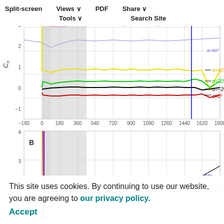[Figure (line-chart): Line chart showing Cn vs azimuth angle (−180 to 1800) for multiple angles of attack: α=60° (pink/light purple, top), α=40° (yellow), α=20° (green), α=0° (black), α=−20° (red). Gray shaded regions visible. Y-axis labeled Cn, range approximately −1 to 4.]
[Figure (line-chart): Line chart panel B, same x-axis (−180 to 1800). Shows purple vertical spikes near 0, yellow line near 2, blue line near 2, gray shaded region. α=60° label visible at right. Y-axis shows values 2, 3, 4.]
This site uses cookies. By continuing to use our website, you are agreeing to our privacy policy.
Accept